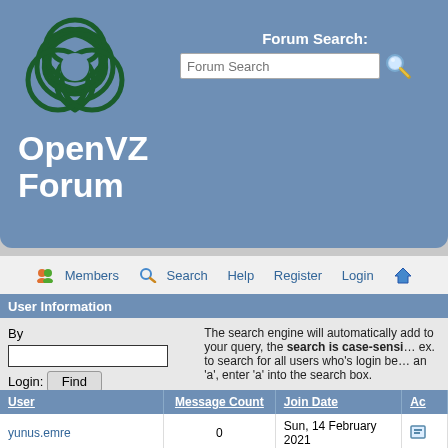[Figure (logo): OpenVZ triquetra/trefoil knot logo in dark green on blue background]
OpenVZ Forum
Forum Search:
Forum Search (input box)
Members  Search  Help  Register  Login
User Information
By
Login:
The search engine will automatically add to your query, the search is case-sensitive ex. to search for all users who's login begins an 'a', enter 'a' into the search box.
| User | Message Count | Join Date | Ac... |
| --- | --- | --- | --- |
| yunus.emre | 0 | Sun, 14 February 2021 | ... |
Find (button)